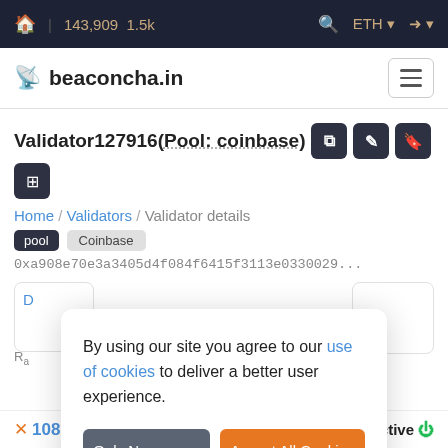🏠 | 143,909  1.5k   🔍  ETH ▼  ➜ ▼
beaconcha.in
Validator127916(Pool: coinbase)
Home / Validators / Validator details
pool  Coinbase
0xa908e70e3a3405d4f084f6415f3113e0330029...
By using our site you agree to our use of cookies to deliver a better user experience.
Only Necessary  Accept All Cookies
108188   34.31028 ETH   Active